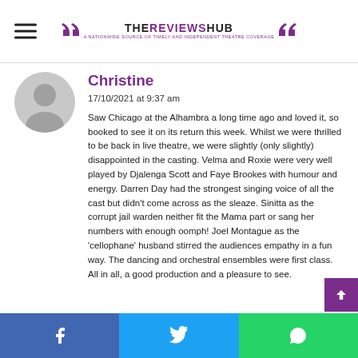THE REVIEWS HUB — A NATIONWIDE SOURCE OF TIMELY AND INDEPENDENT THEATRE COVERAGE
Christine
17/10/2021 at 9:37 am
Saw Chicago at the Alhambra a long time ago and loved it, so booked to see it on its return this week. Whilst we were thrilled to be back in live theatre, we were slightly (only slightly) disappointed in the casting. Velma and Roxie were very well played by Djalenga Scott and Faye Brookes with humour and energy. Darren Day had the strongest singing voice of all the cast but didn't come across as the sleaze. Sinitta as the corrupt jail warden neither fit the Mama part or sang her numbers with enough oomph! Joel Montague as the 'cellophane' husband stirred the audiences empathy in a fun way. The dancing and orchestral ensembles were first class. All in all, a good production and a pleasure to see.
Facebook | Twitter | WhatsApp